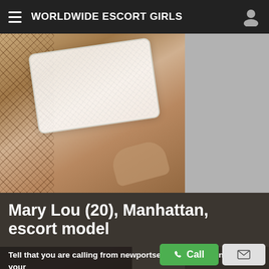WORLDWIDE ESCORT GIRLS
[Figure (photo): Close-up photo of a person wearing white lace lingerie with fishnet stockings, hand visible]
[Figure (photo): Partial photo of a person in dark blue/black outfit]
Mary Lou (20), Manhattan, escort model
Tell that you are calling from newportsescorts.com to increase your chances of getting a discount.